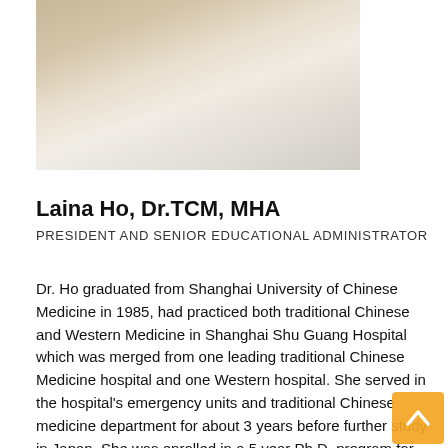[Figure (photo): Portrait photo of Laina Ho wearing a white coat, cropped at the top portion of the page]
Laina Ho, Dr.TCM, MHA
PRESIDENT AND SENIOR EDUCATIONAL ADMINISTRATOR
Dr. Ho graduated from Shanghai University of Chinese Medicine in 1985, had practiced both traditional Chinese and Western Medicine in Shanghai Shu Guang Hospital which was merged from one leading traditional Chinese Medicine hospital and one Western hospital. She served in the hospital's emergency units and traditional Chinese medicine department for about 3 years before further study in Japan. She was enrolled in a 5 year Ph.D. program for the research of using TCM herbal medicine treating Meniere's disease in Hamamazhi Medical University in the province of Shizioka, Japan. In year 2005, Ho obtained a Master Degree from University of British Columbia in Health